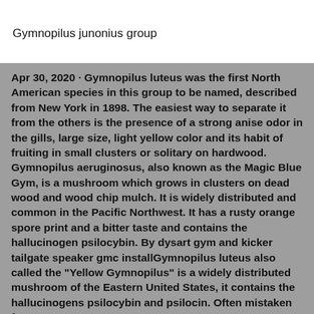Gymnopilus junonius group
Apr 30, 2020 · Gymnopilus luteus was the first North American species in this group to be named, described from New York in 1898. The easiest way to separate it from the others is the presence of a strong anise odor in the gills, large size, light yellow color and its habit of fruiting in small clusters or solitary on hardwood. Gymnopilus aeruginosus, also known as the Magic Blue Gym, is a mushroom which grows in clusters on dead wood and wood chip mulch. It is widely distributed and common in the Pacific Northwest. It has a rusty orange spore print and a bitter taste and contains the hallucinogen psilocybin. By dysart gym and kicker tailgate speaker gmc installGymnopilus luteus also called the "Yellow Gymnopilus" is a widely distributed mushroom of the Eastern United States, it contains the hallucinogens psilocybin and psilocin. Often mistaken for